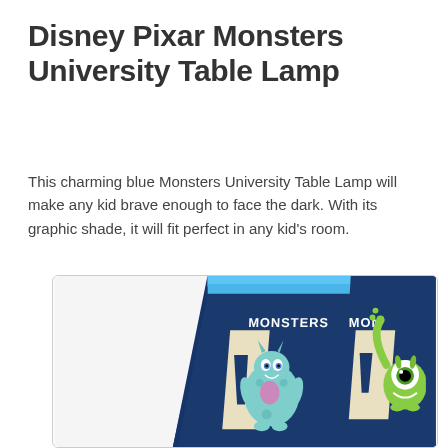Disney Pixar Monsters University Table Lamp
This charming blue Monsters University Table Lamp will make any kid brave enough to face the dark. With its graphic shade, it will fit perfect in any kid's room.
[Figure (photo): A blue trapezoid-shaped lamp shade with Monsters University branding. The shade features the characters Sully and Mike Wazowski with 'MONSTERS U' lettering in a collegiate style on a dark navy blue background with a light blue rim at the top.]